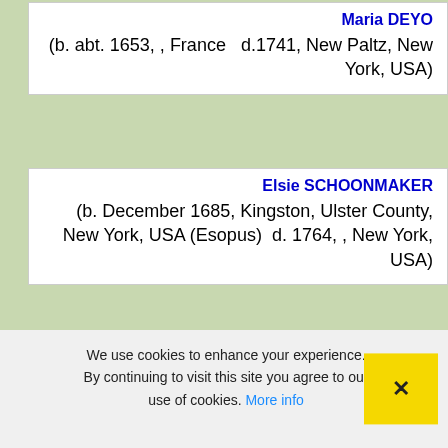Maria DEYO
(b. abt. 1653, , France   d.1741, New Paltz, New York, USA)
Elsie SCHOONMAKER
(b. December 1685, Kingston, Ulster County, New York, USA (Esopus)  d. 1764, , New York, USA)
Joechem Hendricksen SCHOONMAKER
(b. 1654, Albany, New York, USA (Fort
We use cookies to enhance your experience. By continuing to visit this site you agree to our use of cookies. More info